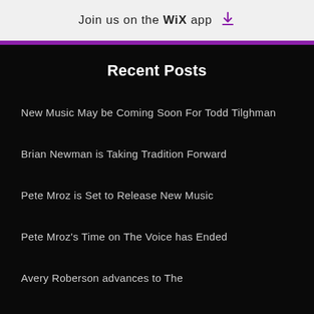Join us on the WiX app
Recent Posts
New Music May be Coming Soon For Todd Tilghman
Brian Newman is Taking Tradition Forward
Pete Mroz is Set to Release New Music
Pete Mroz's Time on The Voice has Ended
Avery Roberson advances to The